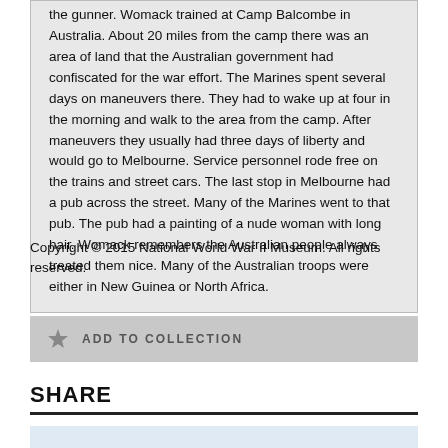the gunner. Womack trained at Camp Balcombe in Australia. About 20 miles from the camp there was an area of land that the Australian government had confiscated for the war effort. The Marines spent several days on maneuvers there. They had to wake up at four in the morning and walk to the area from the camp. After maneuvers they usually had three days of liberty and would go to Melbourne. Service personnel rode free on the trains and street cars. The last stop in Melbourne had a pub across the street. Many of the Marines went to that pub. The pub had a painting of a nude woman with long hair. Womack remembers the Australian people always treated them nice. Many of the Australian troops were either in New Guinea or North Africa.
Copyright © 2015 National World War II Museum. All rights reserved.
ADD TO COLLECTION
SHARE